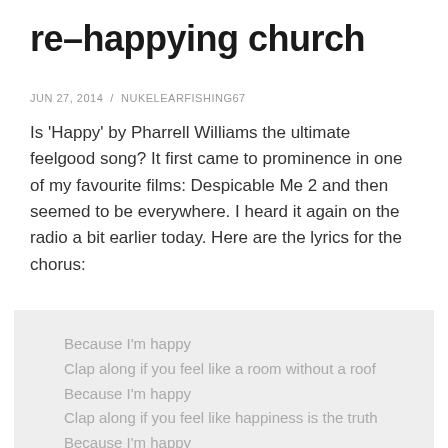re-happying church
JUN 27, 2014 / NUKELEARFISHING67
Is 'Happy' by Pharrell Williams the ultimate feelgood song? It first came to prominence in one of my favourite films: Despicable Me 2 and then seemed to be everywhere. I heard it again on the radio a bit earlier today. Here are the lyrics for the chorus:
Because I'm happy
Clap along if you feel like a room without a roof
Because I'm happy
Clap along if you feel like happiness is the truth
Because I'm happy
Clap along if you know what happiness is to you